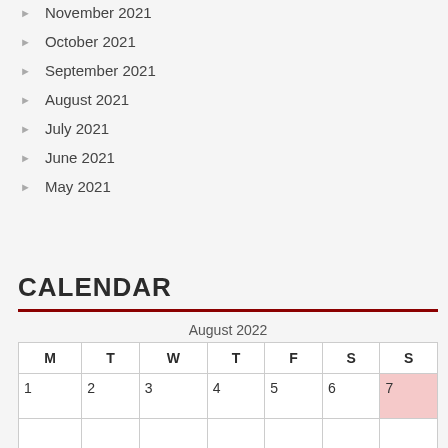November 2021
October 2021
September 2021
August 2021
July 2021
June 2021
May 2021
CALENDAR
| M | T | W | T | F | S | S |
| --- | --- | --- | --- | --- | --- | --- |
| 1 | 2 | 3 | 4 | 5 | 6 | 7 |
|  |  |  |  |  |  |  |